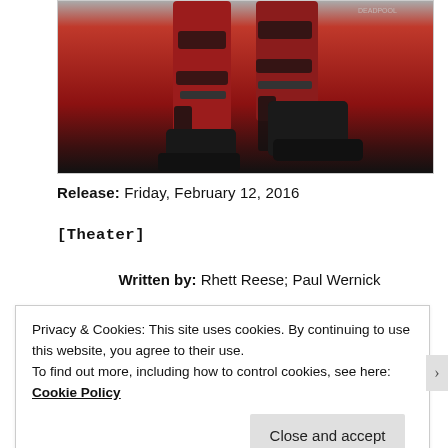[Figure (photo): Partial movie poster showing Deadpool character legs in red costume with black boots and holsters]
Release: Friday, February 12, 2016
[Theater]
Written by: Rhett Reese; Paul Wernick
Privacy & Cookies: This site uses cookies. By continuing to use this website, you agree to their use.
To find out more, including how to control cookies, see here: Cookie Policy
Close and accept